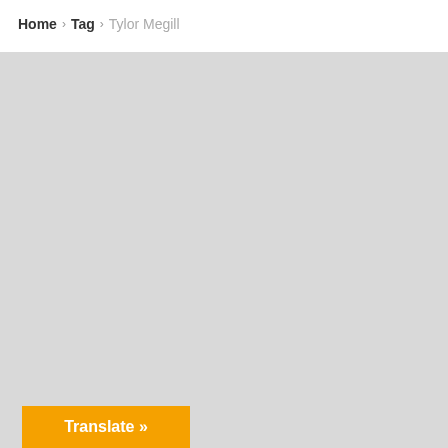Home > Tag > Tylor Megill
[Figure (other): Large gray placeholder content area below breadcrumb navigation]
Translate »